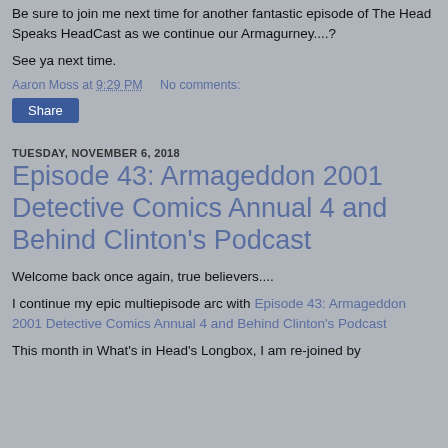Be sure to join me next time for another fantastic episode of The Head Speaks HeadCast as we continue our Armagurney....?
See ya next time.
Aaron Moss at 9:29 PM   No comments:
Share
TUESDAY, NOVEMBER 6, 2018
Episode 43: Armageddon 2001 Detective Comics Annual 4 and Behind Clinton's Podcast
Welcome back once again, true believers....
I continue my epic multiepisode arc with Episode 43: Armageddon 2001 Detective Comics Annual 4 and Behind Clinton's Podcast
This month in What's in Head's Longbox, I am re-joined by